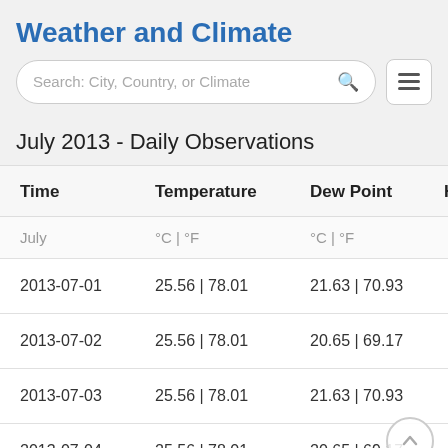Weather and Climate
July 2013 - Daily Observations
| Time | Temperature | Dew Point | Hum |
| --- | --- | --- | --- |
| July | °C | °F | °C | °F |  |
| 2013-07-01 | 25.56 | 78.01 | 21.63 | 70.93 |  |
| 2013-07-02 | 25.56 | 78.01 | 20.65 | 69.17 |  |
| 2013-07-03 | 25.56 | 78.01 | 21.63 | 70.93 |  |
| 2013-07-04 | 25.56 | 78.01 | 20.65 | 69.17 |  |